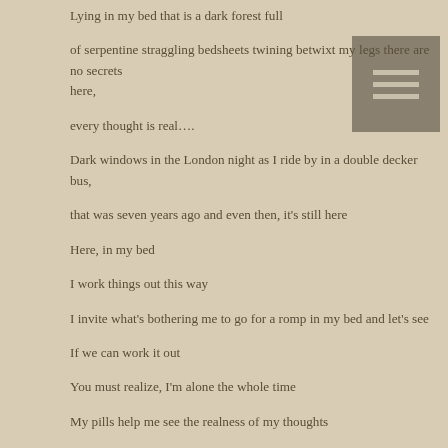Lying in my bed that is a dark forest full

of serpentine straggling bedsheets twining betwixt my legs there are no secrets here,

every thought is real….

Dark windows in the London night as I ride by in a double decker bus,

that was seven years ago and even then, it's still here

Here, in my bed

I work things out this way

I invite what's bothering me to go for a romp in my bed and let's see

If we can work it out

You must realize, I'm alone the whole time

My pills help me see the realness of my thoughts

Even as I cannot express them

You'd think it's sad, you'd think, "she's wasting her life in bed."
[Figure (illustration): A grey/brown square icon with three horizontal lines, resembling a menu or hamburger icon, positioned in the upper right area of the page.]